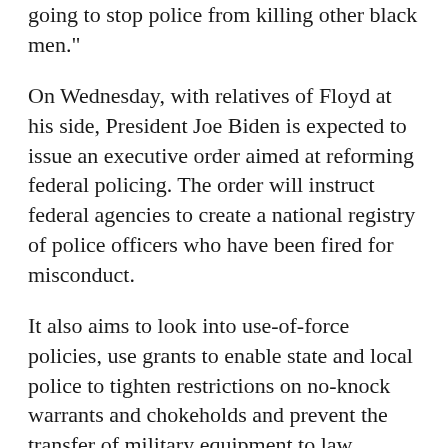going to stop police from killing other black men."
On Wednesday, with relatives of Floyd at his side, President Joe Biden is expected to issue an executive order aimed at reforming federal policing. The order will instruct federal agencies to create a national registry of police officers who have been fired for misconduct.
It also aims to look into use-of-force policies, use grants to enable state and local police to tighten restrictions on no-knock warrants and chokeholds and prevent the transfer of military equipment to law enforcement agencies, according to media reports.
The order is the result of months of negotiations among White House officials, civil rights groups and police organizations. The administration began